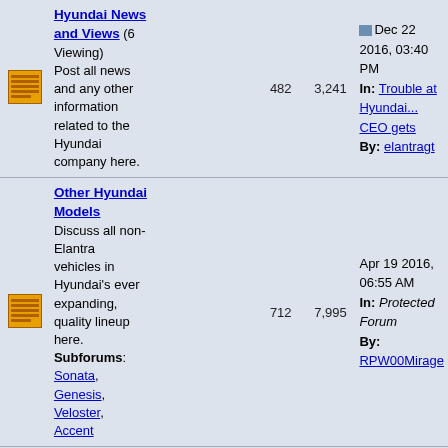| Icon | Forum | Posts | Topics | Last Post |
| --- | --- | --- | --- | --- |
| [icon] | Hyundai News and Views (6 Viewing) Post all news and any other information related to the Hyundai company here. | 482 | 3,241 | Dec 22 2016, 03:40 PM In: Trouble at Hyundai... CEO gets By: elantragt |
| [icon] | Other Hyundai Models Discuss all non-Elantra vehicles in Hyundai's ever expanding, quality lineup here. Subforums: Sonata, Genesis, Veloster, Accent | 712 | 7,995 | Apr 19 2016, 06:55 AM In: Protected Forum By: RPW00Mirage |
| [icon] | The Kia Zone (19 Viewing) An area for... |  |  |  |